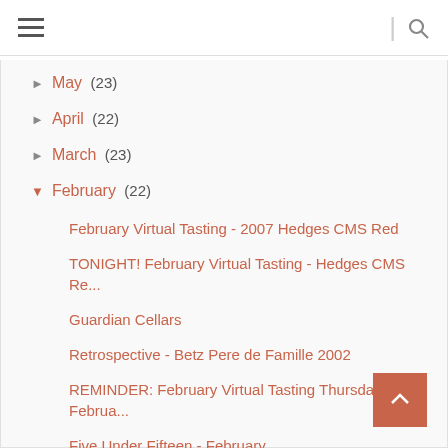Navigation header with hamburger menu and search icon
► May (23)
► April (22)
► March (23)
▼ February (22)
February Virtual Tasting - 2007 Hedges CMS Red
TONIGHT! February Virtual Tasting - Hedges CMS Re...
Guardian Cellars
Retrospective - Betz Pere de Famille 2002
REMINDER: February Virtual Tasting Thursday Februa...
Five Under Fifteen - February
Adams Bench
Liberty Bay Cellars